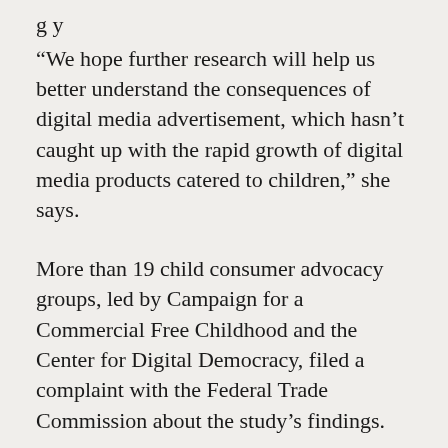“We hope further research will help us better understand the consequences of digital media advertisement, which hasn’t caught up with the rapid growth of digital media products catered to children,” she says.
More than 19 child consumer advocacy groups, led by Campaign for a Commercial Free Childhood and the Center for Digital Democracy, filed a complaint with the Federal Trade Commission about the study’s findings.
The groups called on the FTC to hold app makers accountable for unfair and deceptive practices, including falsely marketing apps that require in-app purchases as "free" and manipulating children to